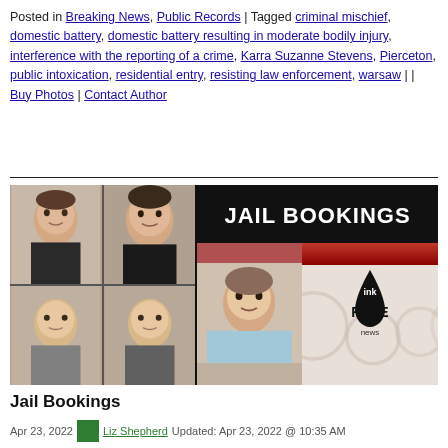Posted in Breaking News, Public Records | Tagged criminal mischief, domestic battery, domestic battery resulting in moderate bodily injury, interference with the reporting of a crime, Karra Suzanne Stevens, Pierceton, public intoxication, residential entry, resisting law enforcement, warsaw | | Buy Photos | Contact Author
[Figure (photo): Jail Bookings promotional image showing a 2x2 grid of mugshot photos on the left and 'JAIL BOOKINGS' text with Ink Free News logo on the right]
Jail Bookings
Apr 23, 2022  Liz Shepherd Updated: Apr 23, 2022 @ 10:35 AM